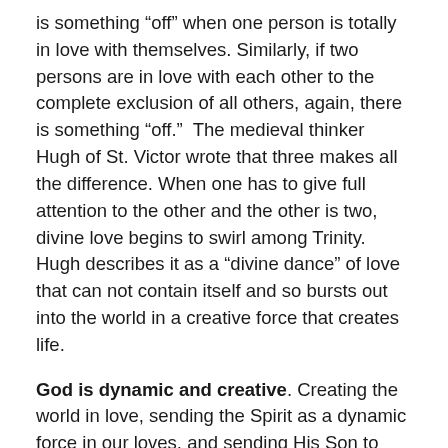is something “off” when one person is totally in love with themselves. Similarly, if two persons are in love with each other to the complete exclusion of all others, again, there is something “off.”  The medieval thinker Hugh of St. Victor wrote that three makes all the difference. When one has to give full attention to the other and the other is two, divine love begins to swirl among Trinity. Hugh describes it as a “divine dance” of love that can not contain itself and so bursts out into the world in a creative force that creates life.
God is dynamic and creative. Creating the world in love, sending the Spirit as a dynamic force in our loves, and sending His Son to create a redemptive way home to God.
I am sure there is more than can be said, but for now it is enough. What is the difference? It seems to me that when